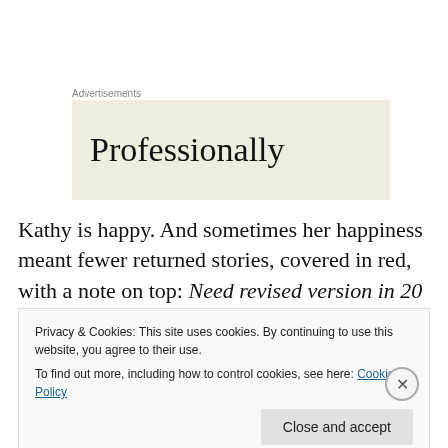Advertisements
[Figure (other): Advertisement banner with beige/cream background showing partial word 'Professionally' in large serif font]
Kathy is happy. And sometimes her happiness meant fewer returned stories, covered in red, with a note on top: Need revised version in 20 minutes. Infuriating? Sometimes. But those red marks usually improved the story. God, we hated to admit that.
Privacy & Cookies: This site uses cookies. By continuing to use this website, you agree to their use.
To find out more, including how to control cookies, see here: Cookie Policy
Close and accept
HFROOTHECA